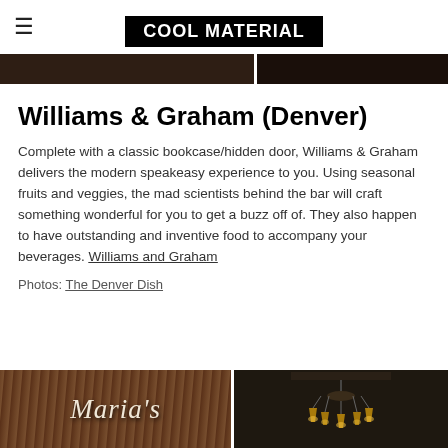COOL MATERIAL
[Figure (photo): Two dark bar interior photos side by side at top of page]
Williams & Graham (Denver)
Complete with a classic bookcase/hidden door, Williams & Graham delivers the modern speakeasy experience to you. Using seasonal fruits and veggies, the mad scientists behind the bar will craft something wonderful for you to get a buzz off of. They also happen to have outstanding and inventive food to accompany your beverages. Williams and Graham
Photos: The Denver Dish
[Figure (photo): Two photos at bottom: left shows a wooden sign reading 'Maria's', right shows ornate chandelier lighting in a bar interior]